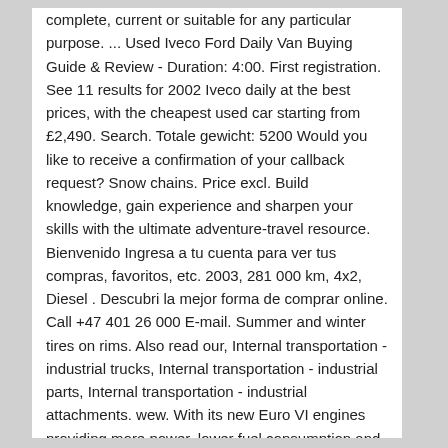complete, current or suitable for any particular purpose. ... Used Iveco Ford Daily Van Buying Guide & Review - Duration: 4:00. First registration. See 11 results for 2002 Iveco daily at the best prices, with the cheapest used car starting from £2,490. Search. Totale gewicht: 5200 Would you like to receive a confirmation of your callback request? Snow chains. Price excl. Build knowledge, gain experience and sharpen your skills with the ultimate adventure-travel resource. Bienvenido Ingresa a tu cuenta para ver tus compras, favoritos, etc. 2003, 281 000 km, 4x2, Diesel . Descubri la mejor forma de comprar online. Call +47 401 26 000 E-mail. Summer and winter tires on rims. Also read our, Internal transportation - industrial trucks, Internal transportation - industrial parts, Internal transportation - industrial attachments. wew. With its new Euro VI engines providing more power, lower fuel consumption and best in class cost of ownership, its increased comfort for both driver and passengers, advanced connectivity and unlimited versatility to meet all passenger transport needs, the New Daily minibus is your perfect business partner. The latest and future car tech from around the world. We're here to help you with any